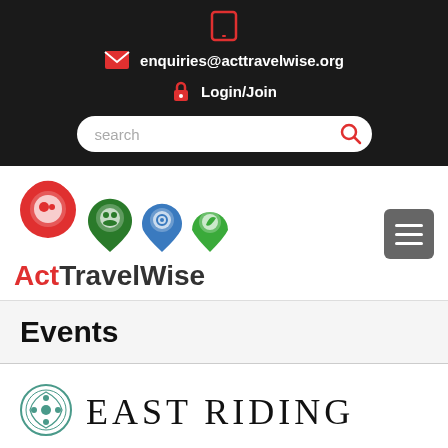[Figure (screenshot): Tablet/mobile device icon in red outline style]
enquiries@acttravelwise.org
Login/Join
search
[Figure (logo): Act TravelWise logo with four map pin icons in red, green, teal and blue, each containing travel-related symbols]
[Figure (other): Hamburger menu button (three horizontal lines on dark grey background)]
Events
[Figure (logo): East Riding council logo circular emblem in teal/green]
EAST RIDING